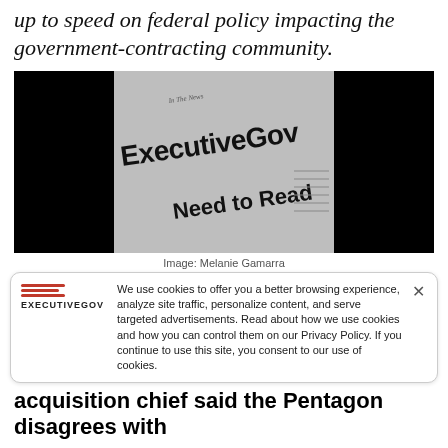up to speed on federal policy impacting the government-contracting community.
[Figure (photo): Black and white newspaper image showing 'ExecutiveGov' logo and 'Need to Read' headline text on a newspaper, with dark/black borders on left and right sides.]
Image: Melanie Gamarra
We use cookies to offer you a better browsing experience, analyze site traffic, personalize content, and serve targeted advertisements. Read about how we use cookies and how you can control them on our Privacy Policy. If you continue to use this site, you consent to our use of cookies.
acquisition chief said the Pentagon disagrees with